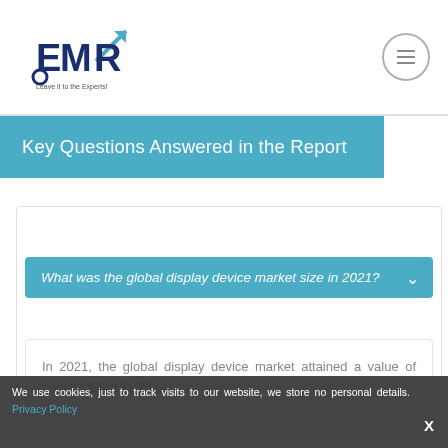[Figure (logo): EMR logo with text 'Leave it to the Experts!']
Key Questions Answered in the Report
What was the global display device market size in 2021?
In 2021, the global display device market attained a value of nearly USD 131.78 billion.
What is the growth rate of the market?
We use cookies, just to track visits to our website, we store no personal details. Privacy Policy